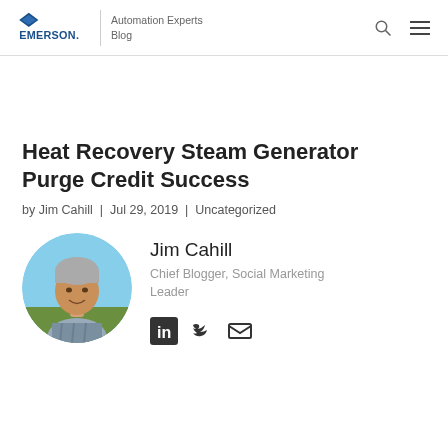Emerson Automation Experts Blog
Heat Recovery Steam Generator Purge Credit Success
by Jim Cahill | Jul 29, 2019 | Uncategorized
[Figure (photo): Circular headshot photo of Jim Cahill, a middle-aged man with grey hair, smiling, wearing a striped shirt, outdoors with a field background]
Jim Cahill
Chief Blogger, Social Marketing Leader